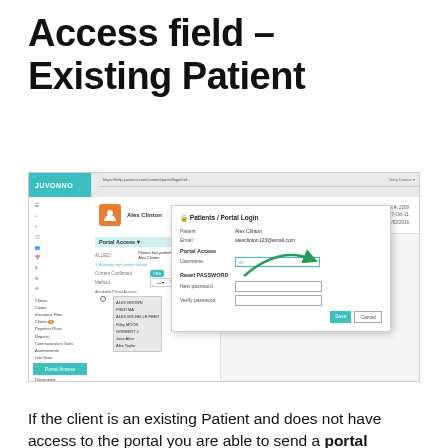Access field – Existing Patient
[Figure (screenshot): Screenshot of Juvonno patient management software showing the Portal Login dialog for an existing patient. The dialog includes fields for Patient, Email, Portal Access (Username with a teal-highlighted input field), and Reset Password fields (New Password and Verify Password), along with Save and Cancel buttons. A green arrow points to the Portal Access/Username field. The left panel shows patient details including name, DOB, Patient#, and a list of available portal access users.]
If the client is an existing Patient and does not have access to the portal you are able to send a portal invitation to the email address you have entered on